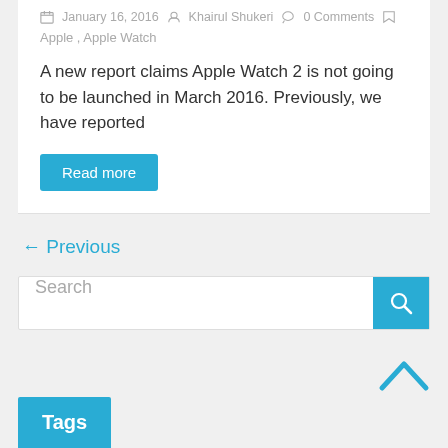January 16, 2016  Khairul Shukeri  0 Comments
Apple, Apple Watch
A new report claims Apple Watch 2 is not going to be launched in March 2016. Previously, we have reported
Read more
← Previous
Search
Tags